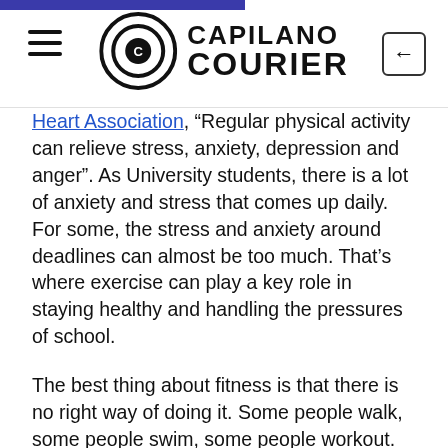Capilano Courier
Heart Association, “Regular physical activity can relieve stress, anxiety, depression and anger”. As University students, there is a lot of anxiety and stress that comes up daily. For some, the stress and anxiety around deadlines can almost be too much. That’s where exercise can play a key role in staying healthy and handling the pressures of school.
The best thing about fitness is that there is no right way of doing it. Some people walk, some people swim, some people workout. The important thing is to do <i>something<i>. The goal should be 30 minutes a day, but if that is too difficult, do five minutes a day. Any time spent exercising is time spent investing in a better and healthier future life.